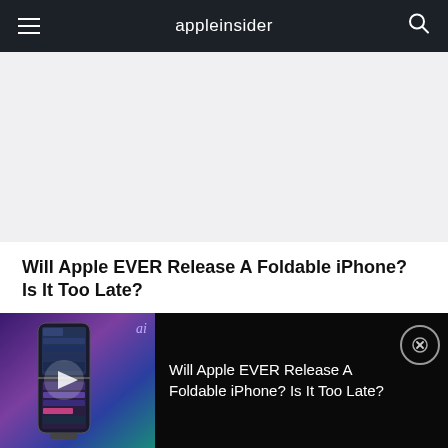appleinsider
[Figure (photo): Light gray placeholder image area for article header image]
Will Apple EVER Release A Foldable iPhone? Is It Too Late?
The Universal Control feature will enable a controlling Mac to pass its cursor between an
[Figure (screenshot): Video overlay bar at bottom showing a foldable iPhone concept thumbnail with play button and 'ai' badge, alongside video title text and close button. Title reads: Will Apple EVER Release A Foldable iPhone? Is It Too Late?]